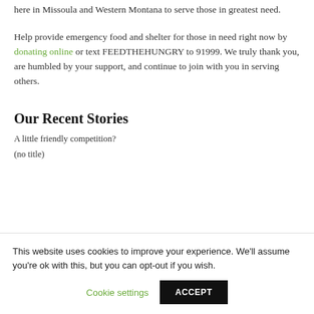here in Missoula and Western Montana to serve those in greatest need.

Help provide emergency food and shelter for those in need right now by donating online or text FEEDTHEHUNGRY to 91999. We truly thank you, are humbled by your support, and continue to join with you in serving others.
Our Recent Stories
A little friendly competition?
(no title)
This website uses cookies to improve your experience. We'll assume you're ok with this, but you can opt-out if you wish.
Cookie settings
ACCEPT